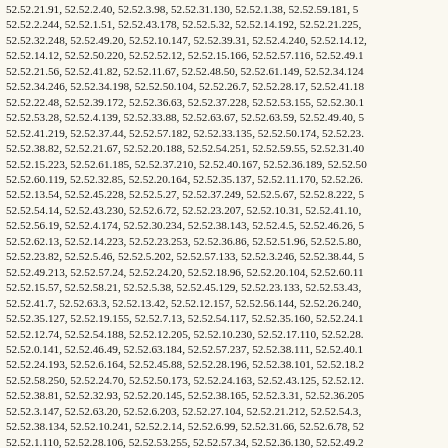52.52.21.91, 52.52.2.40, 52.52.3.98, 52.52.31.130, 52.52.1.38, 52.52.59.181, 52.52.2.244, 52.52.1.51, 52.52.43.178, 52.52.5.32, 52.52.14.192, 52.52.21.225, 52.52.32.248, 52.52.49.20, 52.52.10.147, 52.52.39.31, 52.52.4.240, 52.52.14.12, 52.52.14.12, 52.52.50.220, 52.52.52.12, 52.52.15.166, 52.52.57.116, 52.52.49.1, 52.52.21.56, 52.52.41.82, 52.52.11.67, 52.52.48.50, 52.52.61.149, 52.52.34.124, 52.52.34.246, 52.52.34.198, 52.52.50.104, 52.52.26.7, 52.52.28.17, 52.52.41.18, 52.52.22.48, 52.52.39.172, 52.52.36.63, 52.52.37.228, 52.52.53.155, 52.52.30.1, 52.52.53.28, 52.52.4.139, 52.52.33.88, 52.52.63.67, 52.52.63.59, 52.52.49.40, 52.52.41.219, 52.52.37.44, 52.52.57.182, 52.52.33.135, 52.52.50.174, 52.52.23., 52.52.38.82, 52.52.21.67, 52.52.20.188, 52.52.54.251, 52.52.59.55, 52.52.31.40, 52.52.15.223, 52.52.61.185, 52.52.37.210, 52.52.40.167, 52.52.36.189, 52.52.50, 52.52.60.119, 52.52.32.85, 52.52.20.164, 52.52.35.137, 52.52.11.170, 52.52.26., 52.52.13.54, 52.52.45.228, 52.52.5.27, 52.52.37.249, 52.52.5.67, 52.52.8.222, 52.52.54.14, 52.52.43.230, 52.52.6.72, 52.52.23.207, 52.52.10.31, 52.52.41.10, 52.52.56.19, 52.52.4.174, 52.52.30.234, 52.52.38.143, 52.52.4.5, 52.52.46.26, 52.52.62.13, 52.52.14.223, 52.52.23.253, 52.52.36.86, 52.52.51.96, 52.52.5.80, 52.52.23.82, 52.52.5.46, 52.52.5.202, 52.52.57.133, 52.52.3.246, 52.52.38.44, 52.52.49.213, 52.52.57.24, 52.52.24.20, 52.52.18.96, 52.52.20.104, 52.52.60.11, 52.52.15.57, 52.52.58.21, 52.52.5.38, 52.52.45.129, 52.52.23.133, 52.52.53.43, 52.52.41.7, 52.52.63.3, 52.52.13.42, 52.52.12.157, 52.52.56.144, 52.52.26.240, 52.52.35.127, 52.52.19.155, 52.52.7.13, 52.52.54.117, 52.52.35.160, 52.52.24.1, 52.52.12.74, 52.52.54.188, 52.52.12.205, 52.52.10.230, 52.52.17.110, 52.52.28., 52.52.0.141, 52.52.46.49, 52.52.63.184, 52.52.57.237, 52.52.38.111, 52.52.40.1, 52.52.24.193, 52.52.6.164, 52.52.45.88, 52.52.28.196, 52.52.38.101, 52.52.18.2, 52.52.58.250, 52.52.24.70, 52.52.50.173, 52.52.24.163, 52.52.43.125, 52.52.12., 52.52.38.81, 52.52.32.93, 52.52.20.145, 52.52.38.165, 52.52.3.31, 52.52.36.205, 52.52.3.147, 52.52.63.20, 52.52.6.203, 52.52.27.104, 52.52.21.212, 52.52.54.3, 52.52.38.134, 52.52.10.241, 52.52.2.14, 52.52.6.99, 52.52.31.66, 52.52.6.78, 52.52.1.110, 52.52.28.106, 52.52.53.255, 52.52.57.34, 52.52.36.130, 52.52.49.2, 52.52.30.180, 52.52.25.93, 52.52.3.142, 52.52.49.221, 52.52.39.253, 52.52.19.6, 52.52.41.141, 52.52.29.69, 52.52.46.137, 52.52.55.101, 52.52.52.9, 52.52.45.18, 52.52.9.244, 52.52.49.37, 52.52.51.226, 52.52.63.176, 52.52.48.154, 52.52.60.2, 52.52.43.125, 52.52.43.20, 52.52.43.19, 52.52.33.143, 52.52.53.20, 52.52.40